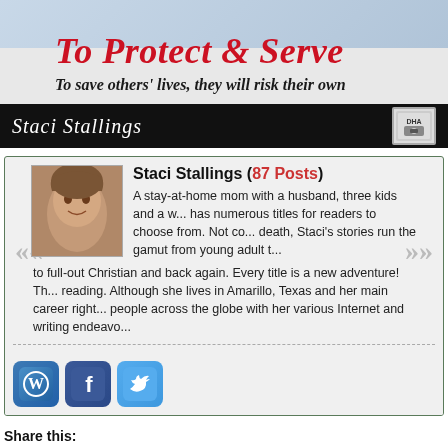[Figure (illustration): Book banner for 'To Protect & Serve' by Staci Stallings. Shows title in red italic serif, subtitle 'To save others' lives, they will risk their own' in black italic, author name in white script on black bar, with an audio book logo icon. Background includes partial image at top.]
Staci Stallings (87 Posts)
A stay-at-home mom with a husband, three kids and a w... has numerous titles for readers to choose from. Not co... death, Staci's stories run the gamut from young adult t... to full-out Christian and back again. Every title is a new adventure! Th... reading. Although she lives in Amarillo, Texas and her main career right... people across the globe with her various Internet and writing endeavo...
[Figure (illustration): Three social media icon buttons: WordPress (blue W), Facebook (blue f), Twitter (light blue bird icon)]
Share this:
Facebook  Twitter  Pinterest  More